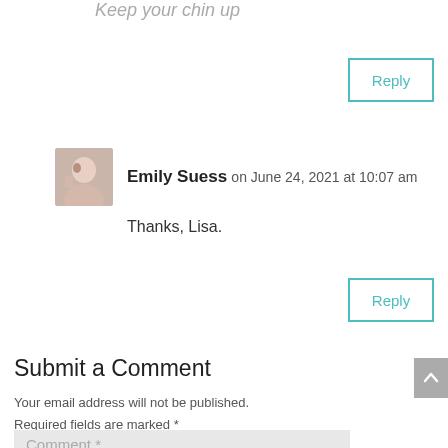Keep your chin up
Reply
Emily Suess on June 24, 2021 at 10:07 am
Thanks, Lisa.
Reply
Submit a Comment
Your email address will not be published. Required fields are marked *
Comment *